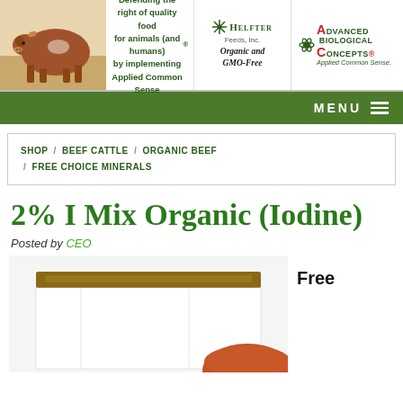[Figure (photo): Brown/red cow against light background on the left side of the header banner]
Defending the right of quality food for animals (and humans) by implementing Applied Common Sense®
[Figure (logo): Helfter Feeds Inc. logo with snowflake icon, text: Organic and GMO-Free]
[Figure (logo): Advanced Biological Concepts logo with atom icon, Applied Common Sense.]
MENU
SHOP / BEEF CATTLE / ORGANIC BEEF / FREE CHOICE MINERALS
2% I Mix Organic (Iodine)
Posted by CEO
[Figure (photo): White mineral/supplement bag with brown top edge, and a partial view of a reddish mineral block in the bottom right]
Free